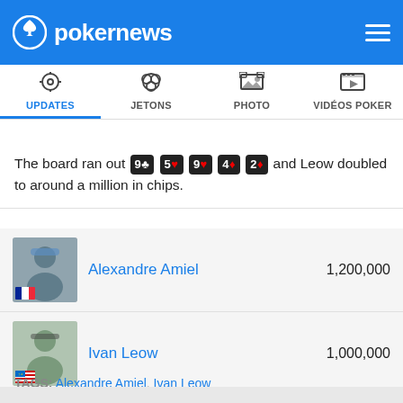pokernews
[Figure (screenshot): Navigation tabs: UPDATES (active), JETONS, PHOTO, VIDÉOS POKER]
The board ran out 9♣ 5♥ 9♥ 4♦ 2♦ and Leow doubled to around a million in chips.
Alexandre Amiel  1,200,000
Ivan Leow  1,000,000
TAGS: Alexandre Amiel, Ivan Leow